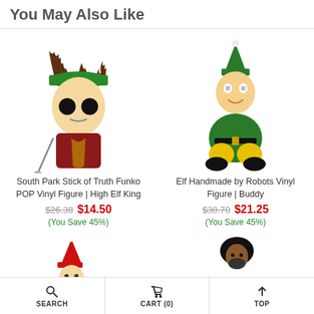You May Also Like
[Figure (illustration): South Park Stick of Truth Funko POP vinyl figure of High Elf King character with green hat and antlers, holding a golf club]
South Park Stick of Truth Funko POP Vinyl Figure | High Elf King
$26.38  $14.50
(You Save 45%)
[Figure (illustration): Elf Handmade by Robots vinyl figure of Buddy the Elf, sitting pose in green elf costume]
Elf Handmade by Robots Vinyl Figure | Buddy
$38.70  $21.25
(You Save 45%)
[Figure (illustration): Elf on the Shelf figure in red outfit]
[Figure (illustration): NFL football player figure wearing #21 Dallas Cowboys uniform]
SEARCH   CART (0)   TOP